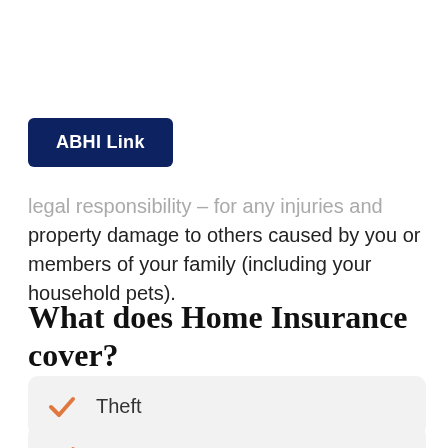[Figure (other): ABHI Link button (dark navy blue rounded rectangle with white bold text)]
legal responsibility – for any injuries and property damage to others caused by you or members of your family (including your household pets).
What does Home Insurance cover?
Theft
Windstorm or hail